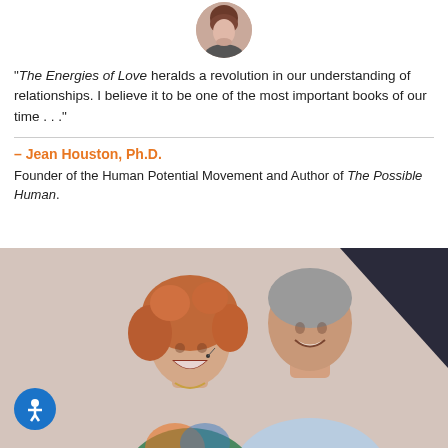[Figure (photo): Circular avatar photo of Jean Houston, a woman with dark hair]
"The Energies of Love heralds a revolution in our understanding of relationships. I believe it to be one of the most important books of our time . . ."
– Jean Houston, Ph.D.
Founder of the Human Potential Movement and Author of The Possible Human.
[Figure (photo): Photo of two people laughing on a stage — a woman with curly reddish hair wearing a colorful outfit and a man with gray hair wearing a light blue shirt. A dark triangular shape appears in the upper right background.]